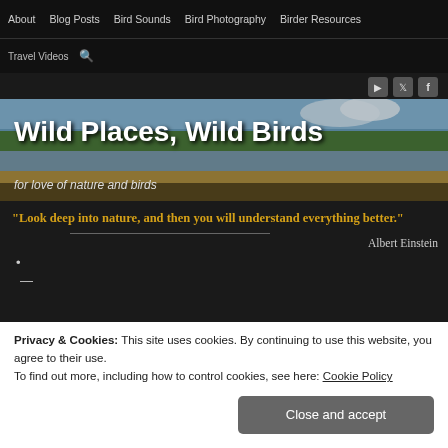About | Blog Posts | Bird Sounds | Bird Photography | Birder Resources
Travel Videos  🔍
[Figure (screenshot): Social media icons: YouTube, Twitter, Facebook]
[Figure (photo): Hero banner image of a marshland with trees and blue sky, overlaid with large white text 'Wild Places, Wild Birds' and subtitle 'for love of nature and birds']
"Look deep into nature, and then you will understand everything better."
Albert Einstein
•
Privacy & Cookies: This site uses cookies. By continuing to use this website, you agree to their use.
To find out more, including how to control cookies, see here: Cookie Policy
Close and accept